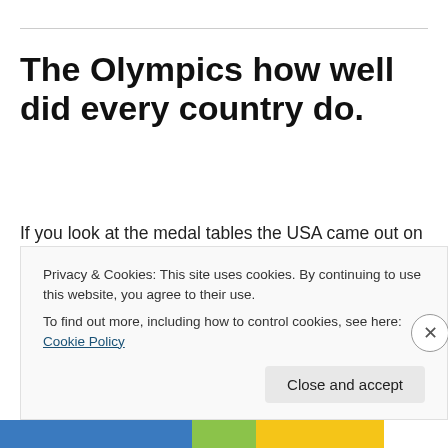The Olympics how well did every country do.
If you look at the medal tables the USA came out on top by number followed by China then Russia then the UK.  If you look at it from Gold medals it was USA, China, UK then Russia.   Well kudos to all the athletes you did your best and got your reward.
Privacy & Cookies: This site uses cookies. By continuing to use this website, you agree to their use. To find out more, including how to control cookies, see here: Cookie Policy